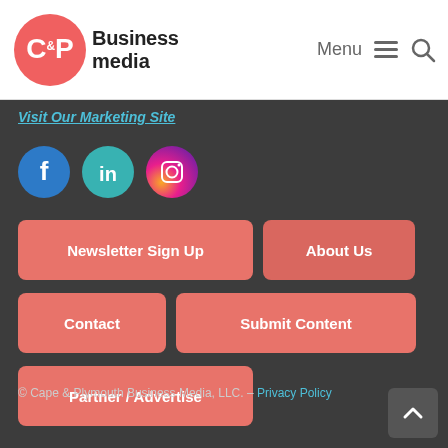[Figure (logo): C&P Business Media logo — circular red/coral C&P icon with 'Business media' text next to it]
Menu ☰ 🔍
Visit Our Marketing Site
[Figure (illustration): Social media icons: Facebook (blue circle), LinkedIn (teal circle), Instagram (gradient circle)]
Newsletter Sign Up
About Us
Contact
Submit Content
Partner / Advertise
© Cape & Plymouth Business Media, LLC. – Privacy Policy